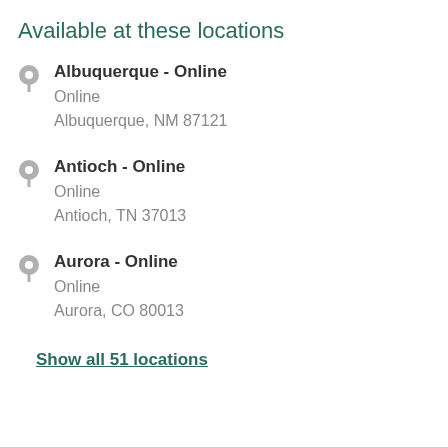Available at these locations
Albuquerque - Online
Online
Albuquerque, NM 87121
Antioch - Online
Online
Antioch, TN 37013
Aurora - Online
Online
Aurora, CO 80013
Show all 51 locations